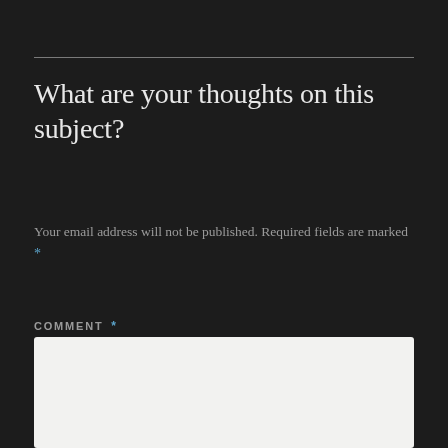What are your thoughts on this subject?
Your email address will not be published. Required fields are marked *
COMMENT *